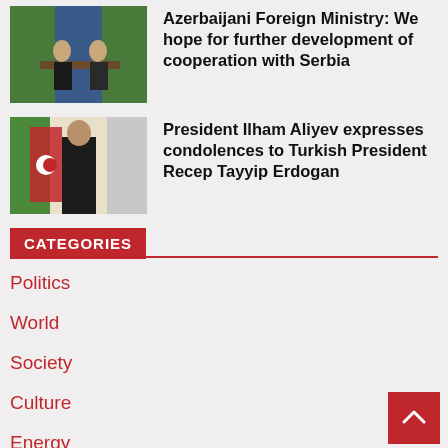[Figure (photo): Two officials at podium with flags in background]
Azerbaijani Foreign Ministry: We hope for further development of cooperation with Serbia
[Figure (photo): President Ilham Aliyev standing in front of Azerbaijan flags in formal attire]
President Ilham Aliyev expresses condolences to Turkish President Recep Tayyip Erdogan
CATEGORIES
Politics
World
Society
Culture
Energy
Economy